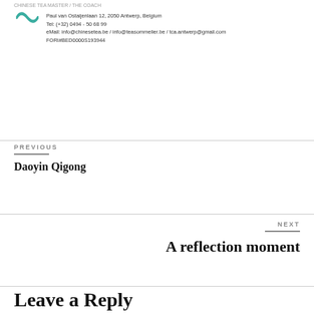CHINESE TEA MASTER / THE COACH
[Figure (logo): Teal stylized logo with double curve/wave design]
Paul van Ostaijenlaan 12, 2050 Antwerp, Belgium
Tel: (+32) 0494 - 50 68 99
eMail: info@chinesetea.be / info@teasommelier.be / tca.antwerp@gmail.com
FORI#BED0000S193944
PREVIOUS
Daoyin Qigong
NEXT
A reflection moment
Leave a Reply